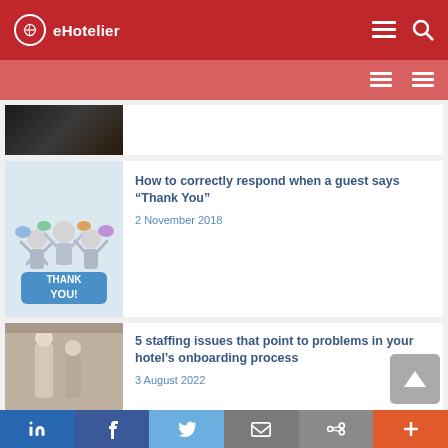eHotelier
[Figure (screenshot): Partial article card with dark thumbnail image, article text not visible]
How to correctly respond when a guest says “Thank You”
2 November 2018
[Figure (illustration): Thank You illustration with 3D characters celebrating around a 'THANK YOU!' sign]
5 staffing issues that point to problems in your hotel’s onboarding process
3 August 2022
[Figure (photo): Hotel staff/onboarding related photo with warm tones]
in | f | Twitter | Email | Share | +